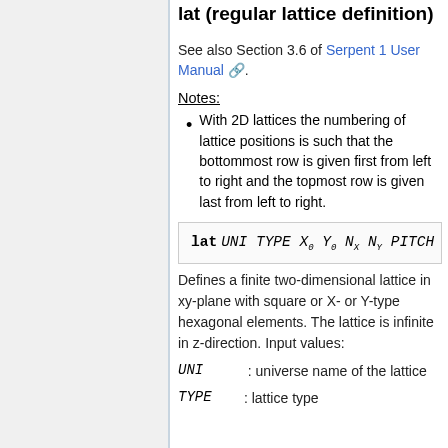lat (regular lattice definition)
See also Section 3.6 of Serpent 1 User Manual.
Notes:
With 2D lattices the numbering of lattice positions is such that the bottommost row is given first from left to right and the topmost row is given last from left to right.
Defines a finite two-dimensional lattice in xy-plane with square or X- or Y-type hexagonal elements. The lattice is infinite in z-direction. Input values:
UNI  : universe name of the lattice
TYPE  : lattice type